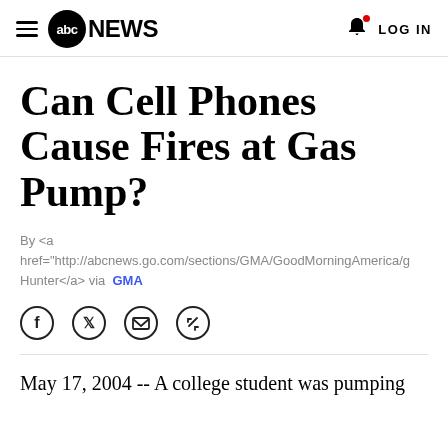abc NEWS | LOG IN
Can Cell Phones Cause Fires at Gas Pump?
By <a href="http://abcnews.go.com/sections/GMA/GoodMorningAmerica/g Hunter</a> via GMA
[Figure (infographic): Social share icons: Facebook, Twitter, Email, Link]
May 17, 2004 -- A college student was pumping